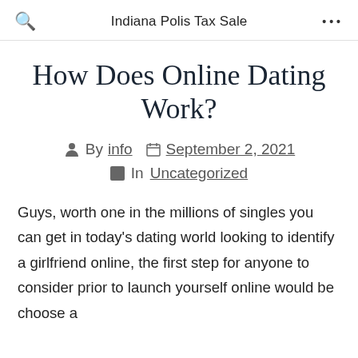Indiana Polis Tax Sale
How Does Online Dating Work?
By info  September 2, 2021  In Uncategorized
Guys, worth one in the millions of singles you can get in today's dating world looking to identify a girlfriend online, the first step for anyone to consider prior to launch yourself online would be choose a